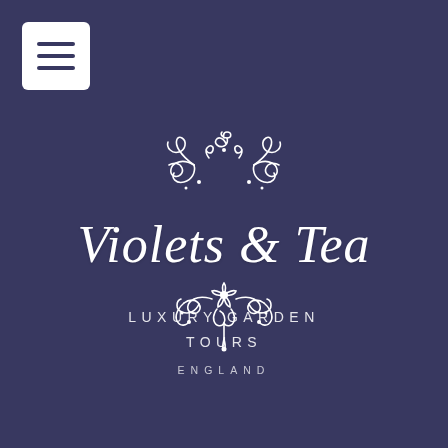[Figure (logo): Hamburger menu icon button — three horizontal white lines on white square background, top-left corner]
Violets & Tea
[Figure (illustration): Decorative white floral/scroll ornament above and below the brand name]
LUXURY GARDEN TOURS
ENGLAND